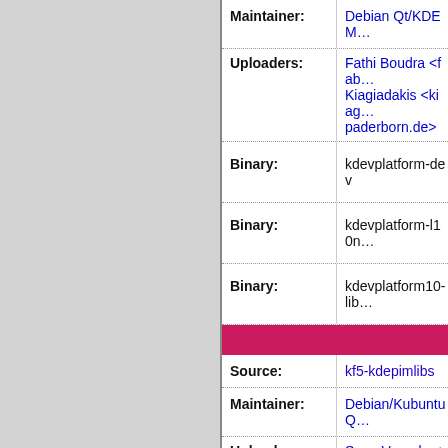| Field | Value |
| --- | --- |
| Maintainer: | Debian Qt/KDE M… |
| Uploaders: | Fathi Boudra <fab…
Kiagiadakis <kiag…
paderborn.de> |
| Binary: | kdevplatform-dev |
| Binary: | kdevplatform-l10n… |
| Binary: | kdevplatform10-lib… |
| Source: | kf5-kdepimlibs |
| Maintainer: | Debian/Kubuntu Q… |
| Uploaders: | Sune Vuorela <su…
Vainius <modax@…
Eshat Cakar <info…
<lisandro@debian… |
| Binary: | kdepimlibs-data:a… |
| Binary: | kf5-kdepimlibs-kio… |